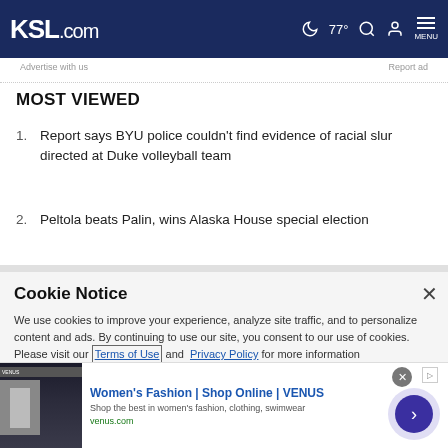KSL.com | 77° | MENU
Advertise with us    Report ad
MOST VIEWED
Report says BYU police couldn't find evidence of racial slur directed at Duke volleyball team
Peltola beats Palin, wins Alaska House special election
Cookie Notice
We use cookies to improve your experience, analyze site traffic, and to personalize content and ads. By continuing to use our site, you consent to our use of cookies. Please visit our Terms of Use and Privacy Policy for more information
[Figure (screenshot): Advertisement banner for Women's Fashion | Shop Online | VENUS with thumbnail image, website venus.com, close button and arrow button]